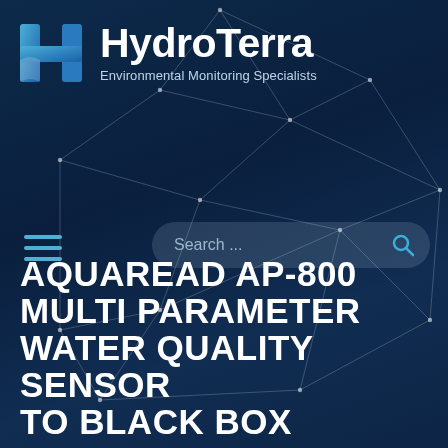[Figure (logo): HydroTerra logo: stylized blue H icon with wave element, white bold HydroTerra text, tagline 'Environmental Monitoring Specialists']
[Figure (screenshot): Dark navy background with geometric network/polygon line art made of thin white lines connecting dots. Menu hamburger icon (3 blue lines) on left; search bar with placeholder 'Search ...' and blue magnifying glass icon on right.]
AQUAREAD AP-800 MULTI PARAMETER WATER QUALITY SENSOR TO BLACK BOX